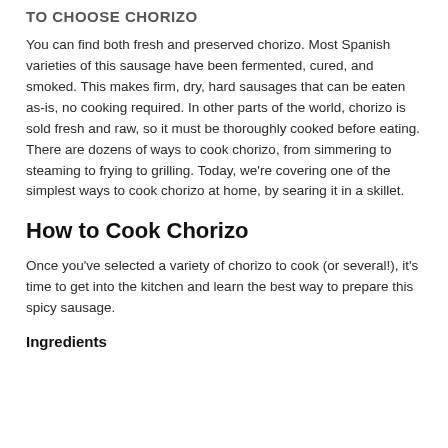TO CHOOSE CHORIZO
You can find both fresh and preserved chorizo. Most Spanish varieties of this sausage have been fermented, cured, and smoked. This makes firm, dry, hard sausages that can be eaten as-is, no cooking required. In other parts of the world, chorizo is sold fresh and raw, so it must be thoroughly cooked before eating. There are dozens of ways to cook chorizo, from simmering to steaming to frying to grilling. Today, we're covering one of the simplest ways to cook chorizo at home, by searing it in a skillet.
How to Cook Chorizo
Once you've selected a variety of chorizo to cook (or several!), it's time to get into the kitchen and learn the best way to prepare this spicy sausage.
Ingredients